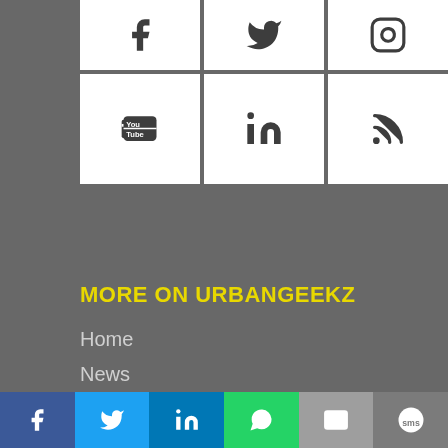[Figure (screenshot): Social media icon grid: top row Facebook, Twitter, Instagram; bottom row YouTube, LinkedIn, RSS feed]
MORE ON URBANGEEKZ
Home
News
Science & Technology
Business
World
Opinion
[Figure (screenshot): Bottom share bar with Facebook, Twitter, LinkedIn, WhatsApp, Email, SMS buttons]